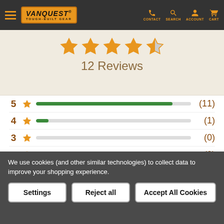Vanquest Tough-Built Gear — CONTACT SEARCH ACCOUNT CART
[Figure (other): Star rating display showing 4.5 out of 5 stars (five stars, last one half-filled) in orange]
12 Reviews
| Stars | Icon | Bar | Count |
| --- | --- | --- | --- |
| 5 | ★ | 11/12 filled | (11) |
| 4 | ★ | 1/12 filled | (1) |
| 3 | ★ | empty | (0) |
| 2 | ★ | empty | (0) |
| 1 | ★ | empty | (0) |
We use cookies (and other similar technologies) to collect data to improve your shopping experience.
Settings
Reject all
Accept All Cookies